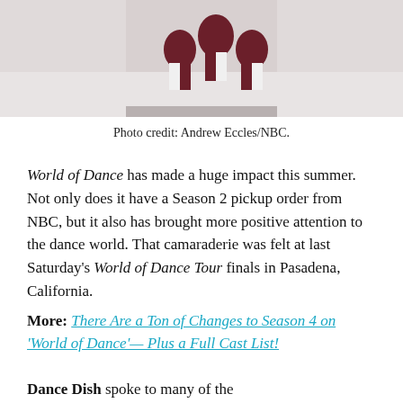[Figure (photo): Overhead/aerial photo of dancers in maroon and white outfits posed on a light gray/white background, cropped at top of page]
Photo credit: Andrew Eccles/NBC.
World of Dance has made a huge impact this summer. Not only does it have a Season 2 pickup order from NBC, but it also has brought more positive attention to the dance world. That camaraderie was felt at last Saturday's World of Dance Tour finals in Pasadena, California.
More: There Are a Ton of Changes to Season 4 on 'World of Dance'— Plus a Full Cast List!
Dance Dish spoke to many of the